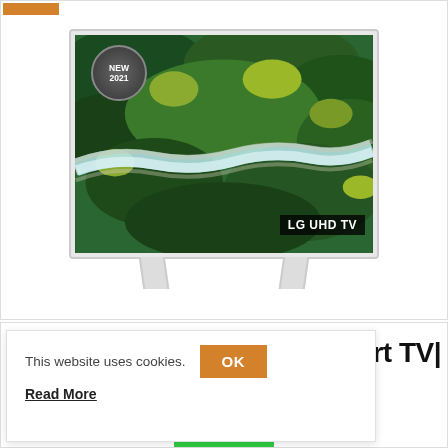[Figure (photo): LG UHD TV product photo with 'NEW 2021' badge and aerial forest/river image on screen, white TV with white stand]
This website uses cookies.
OK
Read More
rt TV|